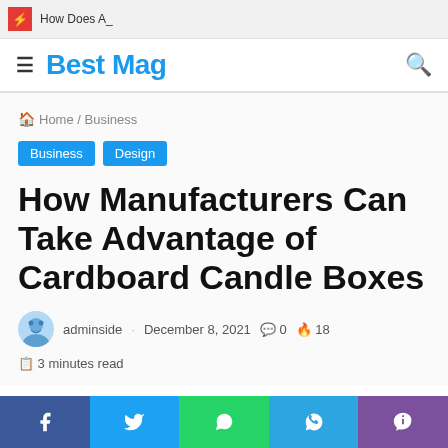How Does A_
Best Mag
Home / Business
Business
Design
How Manufacturers Can Take Advantage of Cardboard Candle Boxes
adminside · December 8, 2021 · 0 comments · 18 · 3 minutes read
Facebook Twitter WhatsApp Telegram Viber